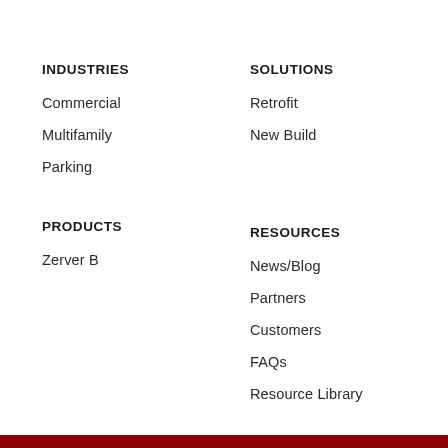INDUSTRIES
Commercial
Multifamily
Parking
SOLUTIONS
Retrofit
New Build
PRODUCTS
Zerver B
RESOURCES
News/Blog
Partners
Customers
FAQs
Resource Library